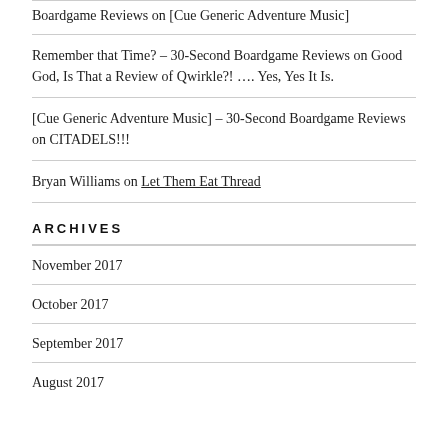Remember that Time? – 30-Second Boardgame Reviews on Good God, Is That a Review of Qwirkle?! …. Yes, Yes It Is.
[Cue Generic Adventure Music] – 30-Second Boardgame Reviews on CITADELS!!!
Bryan Williams on Let Them Eat Thread
ARCHIVES
November 2017
October 2017
September 2017
August 2017